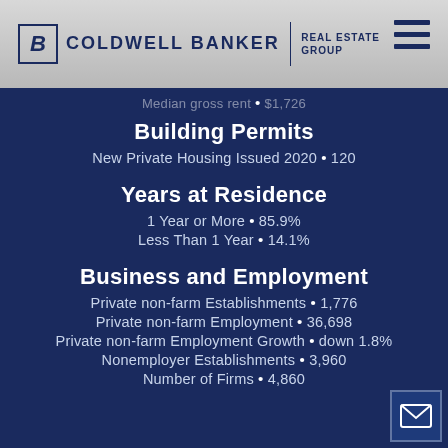Coldwell Banker Real Estate Group
Median gross rent • $1,726
Building Permits
New Private Housing Issued 2020 • 120
Years at Residence
1 Year or More • 85.9%
Less Than 1 Year • 14.1%
Business and Employment
Private non-farm Establishments • 1,776
Private non-farm Employment • 36,698
Private non-farm Employment Growth • down 1.8%
Nonemployer Establishments • 3,960
Number of Firms • 4,860